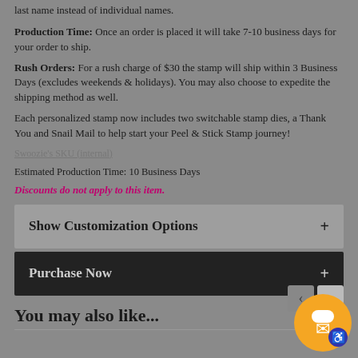last name instead of individual names.
Production Time: Once an order is placed it will take 7-10 business days for your order to ship.
Rush Orders: For a rush charge of $30 the stamp will ship within 3 Business Days (excludes weekends & holidays). You may also choose to expedite the shipping method as well.
Each personalized stamp now includes two switchable stamp dies, a Thank You and Snail Mail to help start your Peel & Stick Stamp journey!
Swoozie's SKU (internal)
Estimated Production Time: 10 Business Days
Discounts do not apply to this item.
Show Customization Options
Purchase Now
You may also like...